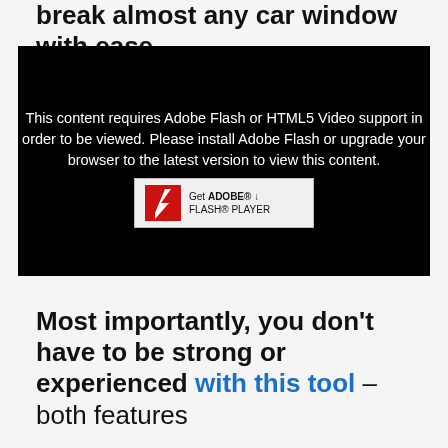break almost any car window with ease.
[Figure (screenshot): Black video player placeholder showing Adobe Flash required message with Get Adobe Flash Player badge]
Most importantly, you don't have to be strong or experienced with this tool – both features